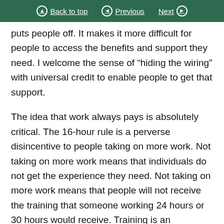Back to top | Previous | Next
puts people off. It makes it more difficult for people to access the benefits and support they need. I welcome the sense of “hiding the wiring” with universal credit to enable people to get that support.
The idea that work always pays is absolutely critical. The 16-hour rule is a perverse disincentive to people taking on more work. Not taking on more work means that individuals do not get the experience they need. Not taking on more work means that people will not receive the training that someone working 24 hours or 30 hours would receive. Training is an investment by the business in the individual, and getting extra hours enormously improves the chances of that individual receiving